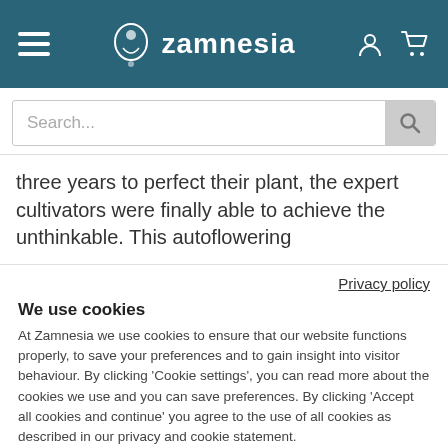Zamnesia
three years to perfect their plant, the expert cultivators were finally able to achieve the unthinkable. This autoflowering
Privacy policy
We use cookies
At Zamnesia we use cookies to ensure that our website functions properly, to save your preferences and to gain insight into visitor behaviour. By clicking 'Cookie settings', you can read more about the cookies we use and you can save preferences. By clicking 'Accept all cookies and continue' you agree to the use of all cookies as described in our privacy and cookie statement.
Accept all cookies and continue
Cookie settings